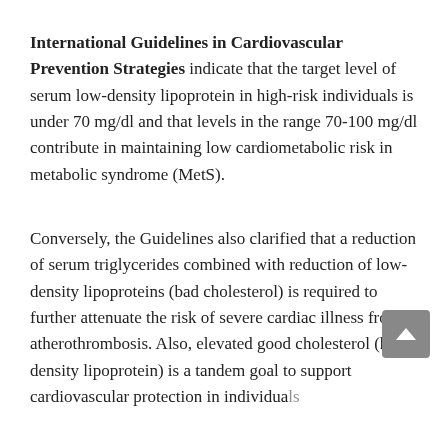International Guidelines in Cardiovascular Prevention Strategies indicate that the target level of serum low-density lipoprotein in high-risk individuals is under 70 mg/dl and that levels in the range 70-100 mg/dl contribute in maintaining low cardiometabolic risk in metabolic syndrome (MetS).
Conversely, the Guidelines also clarified that a reduction of serum triglycerides combined with reduction of low-density lipoproteins (bad cholesterol) is required to further attenuate the risk of severe cardiac illness from atherothrombosis. Also, elevated good cholesterol (high-density lipoprotein) is a tandem goal to support cardiovascular protection in individuals